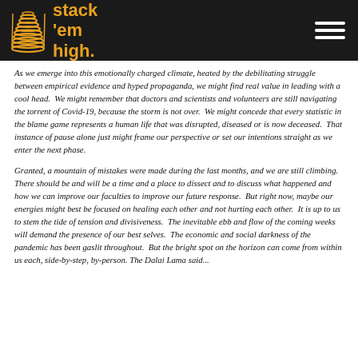stack 'em high
As we emerge into this emotionally charged climate, heated by the debilitating struggle between empirical evidence and hyped propaganda, we might find real value in leading with a cool head.  We might remember that doctors and scientists and volunteers are still navigating the torrent of Covid-19, because the storm is not over.  We might concede that every statistic in the blame game represents a human life that was disrupted, diseased or is now deceased.  That instance of pause alone just might frame our perspective or set our intentions straight as we enter the next phase.
Granted, a mountain of mistakes were made during the last months, and we are still climbing.  There should be and will be a time and a place to dissect and to discuss what happened and how we can improve our faculties to improve our future response.  But right now, maybe our energies might best be focused on healing each other and not hurting each other.  It is up to us to stem the tide of tension and divisiveness.  The inevitable ebb and flow of the coming weeks will demand the presence of our best selves.  The economic and social darkness of the pandemic has been gaslit throughout.  But the bright spot on the horizon can come from within us each, side-by-step, by-person. The Dalai Lama said...